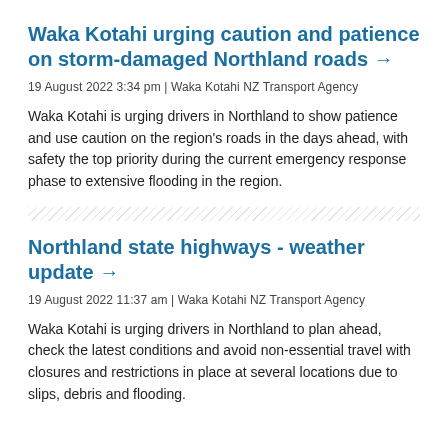Waka Kotahi urging caution and patience on storm-damaged Northland roads →
19 August 2022 3:34 pm | Waka Kotahi NZ Transport Agency
Waka Kotahi is urging drivers in Northland to show patience and use caution on the region's roads in the days ahead, with safety the top priority during the current emergency response phase to extensive flooding in the region.
Northland state highways - weather update →
19 August 2022 11:37 am | Waka Kotahi NZ Transport Agency
Waka Kotahi is urging drivers in Northland to plan ahead, check the latest conditions and avoid non-essential travel with closures and restrictions in place at several locations due to slips, debris and flooding.